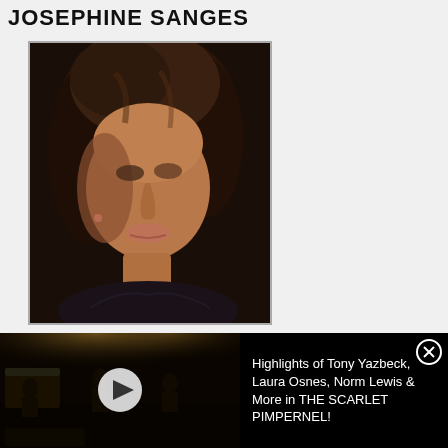JOSEPHINE SANGES
[Figure (photo): Portrait photo of Josephine Sanges, a woman with dark brown hair, looking downward, wearing a dark top]
[Figure (screenshot): Video thumbnail showing a stage performance scene with a play button, alongside text: 'Highlights of Tony Yazbeck, Laura Osnes, Norm Lewis & More in THE SCARLET PIMPERNEL!']